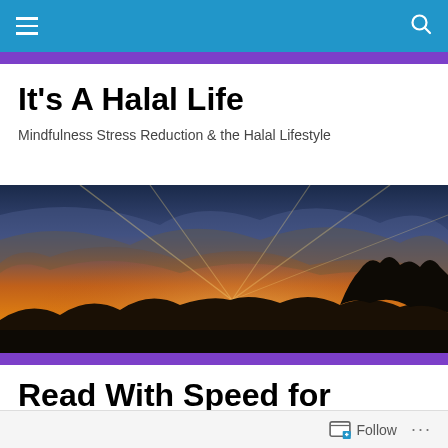Navigation bar with hamburger menu and search icon
It's A Halal Life
Mindfulness Stress Reduction & the Halal Lifestyle
[Figure (photo): Sunset landscape with dramatic golden sky, sunbeams breaking through clouds, and silhouetted trees along the horizon]
Read With Speed for Achievement
Follow ...